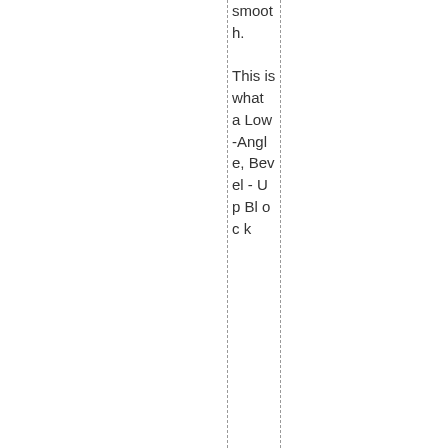smooth. This is what a Low-Angle, Bevel - Up Block k